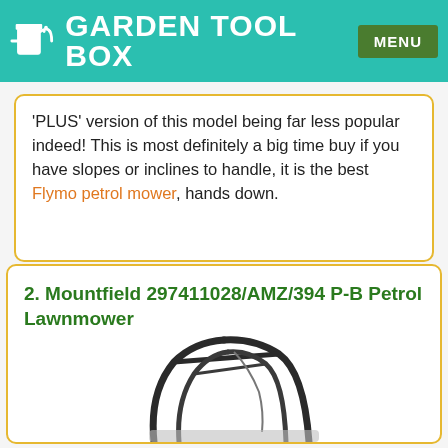GARDEN TOOL BOX  MENU
'PLUS' version of this model being far less popular indeed! This is most definitely a big time buy if you have slopes or inclines to handle, it is the best Flymo petrol mower, hands down.
2. Mountfield 297411028/AMZ/394 P-B Petrol Lawnmower
[Figure (photo): Partial image of a Mountfield petrol lawnmower showing the handle frame and body, cropped at bottom of page]